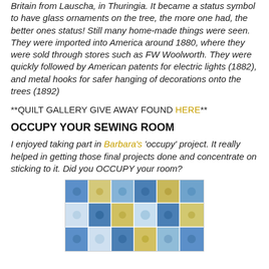Britain from Lauscha, in Thuringia. It became a status symbol to have glass ornaments on the tree, the more one had, the better ones status! Still many home-made things were seen. They were imported into America around 1880, where they were sold through stores such as FW Woolworth. They were quickly followed by American patents for electric lights (1882), and metal hooks for safer hanging of decorations onto the trees (1892)
**QUILT GALLERY GIVE AWAY FOUND HERE**
OCCUPY YOUR SEWING ROOM
I enjoyed taking part in Barbara's 'occupy' project. It really helped in getting those final projects done and concentrate on sticking to it. Did you OCCUPY your room?
[Figure (photo): A blue and yellow patchwork quilt with floral fabric patches arranged in a grid pattern]